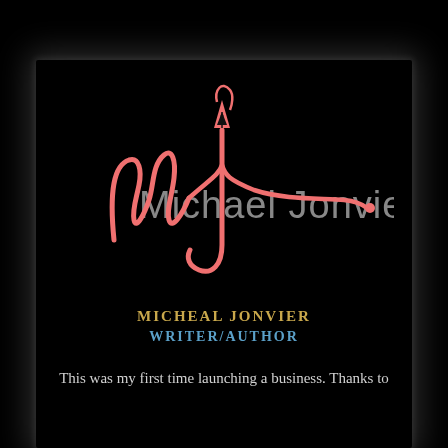[Figure (logo): Signature logo of Michael Jonvier — stylized cursive MJ initials in salmon/coral color with a fountain pen nib, overlaid with the text 'Michael Jonvier' in grey]
MICHEAL JONVIER
WRITER/AUTHOR
This was my first time launching a business. Thanks to